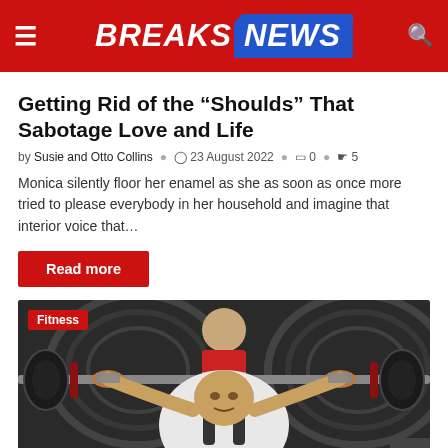BREAKS NEWS
Getting Rid of the “Shoulds” That Sabotage Love and Life
by Susie and Otto Collins © 23 August 2022 ☐ 0 ◎ 5
Monica silently floor her enamel as she as soon as once more tried to please everybody in her household and imagine that interior voice that…
Read more
[Figure (photo): A powerlifter performing a bench press with a spotter behind him. He is wearing a white and black powerlifting suit and straining under heavy barbell weight with large plates. A 'Fitness' category tag is overlaid in red at the top left.]